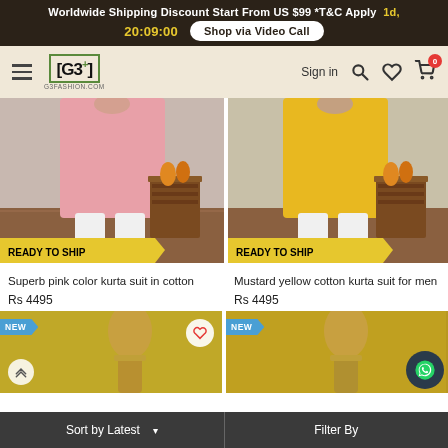Worldwide Shipping Discount Start From US $99 *T&C Apply 1d, 20:09:00   Shop via Video Call
[Figure (screenshot): G3Fashion.com navigation bar with hamburger menu, G3+ logo, Sign in, search, wishlist and cart icons]
[Figure (photo): Pink color kurta suit on mannequin with READY TO SHIP badge]
[Figure (photo): Mustard yellow cotton kurta suit on mannequin with READY TO SHIP badge]
Superb pink color kurta suit in cotton
Rs 4495
Mustard yellow cotton kurta suit for men
Rs 4495
[Figure (photo): NEW badge product partial image left column]
[Figure (photo): NEW badge product partial image right column with WhatsApp button]
Sort by Latest   Filter By